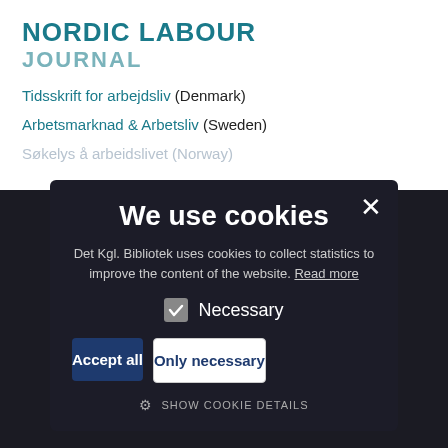NORDIC LABOUR JOURNAL
Tidsskrift for arbejdsliv (Denmark)
Arbetsmarknad & Arbetsliv (Sweden)
Søkelys å arbeidslivet (Norway)
We use cookies
Det Kgl. Bibliotek uses cookies to collect statistics to improve the content of the website. Read more
Necessary
Accept all
Only necessary
SHOW COOKIE DETAILS